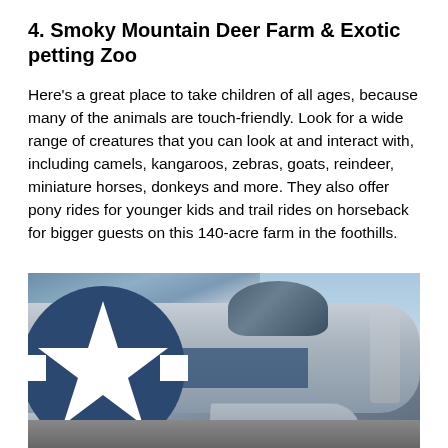4. Smoky Mountain Deer Farm & Exotic petting Zoo
Here's a great place to take children of all ages, because many of the animals are touch-friendly. Look for a wide range of creatures that you can look at and interact with, including camels, kangaroos, zebras, goats, reindeer, miniature horses, donkeys and more. They also offer pony rides for younger kids and trail rides on horseback for bigger guests on this 140-acre farm in the foothills.
[Figure (photo): Close-up photograph of a vintage military aircraft (likely a WWII-era warbird) showing the fuselage with a large white US Army Air Forces star insignia on a blue circle, the cockpit canopy area, wing, and propeller. The aircraft appears silver/aluminum with blue markings, parked on a tarmac with a partly cloudy sky in the background.]